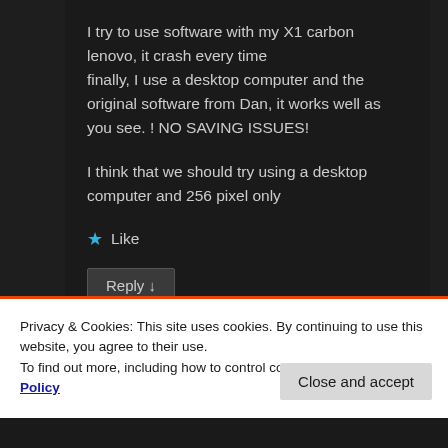I try to use software with my X1 carbon lenovo, it crash every time
finally, I use a desktop computer and the original software from Dan, it works well as you see. ! NO SAVING ISSUES!

I think that we should try using a desktop computer and 256 pixel only
★ Like
Reply ↓
Privacy & Cookies: This site uses cookies. By continuing to use this website, you agree to their use.
To find out more, including how to control cookies, see here: Cookie Policy
Close and accept